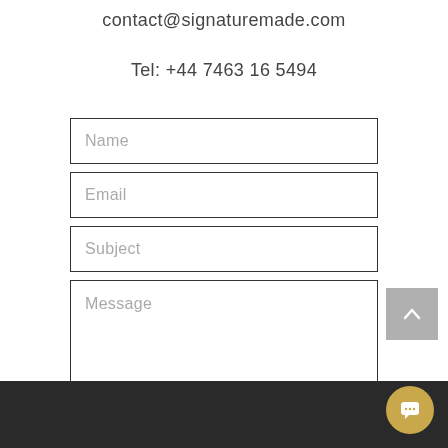contact@signaturemade.com
Tel: +44 7463 16 5494
[Figure (other): Contact form with Name, Email, Subject, Message fields, a Submit button, and 'Thanks for submitting!' confirmation text]
[Figure (other): Gray back-to-top button with upward chevron arrow]
Thanks for submitting!
Dark footer bar with gold chat bubble icon